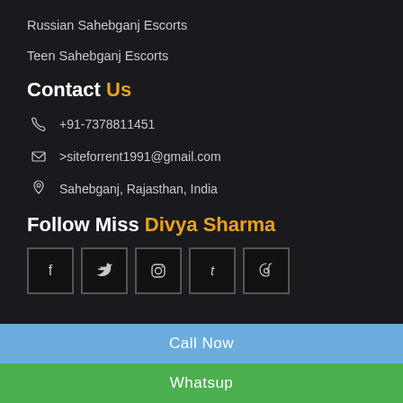Russian Sahebganj Escorts
Teen Sahebganj Escorts
Contact Us
+91-7378811451
>siteforrent1991@gmail.com
Sahebganj, Rajasthan, India
Follow Miss Divya Sharma
[Figure (other): Social media icon buttons: Facebook, Twitter, Instagram, Tumblr, Pinterest]
Call Now
Whatsup